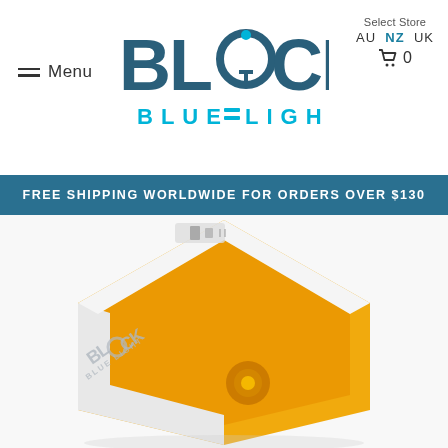Menu | BLOCK BLUE LIGHT | Select Store AU NZ UK | Cart 0
FREE SHIPPING WORLDWIDE FOR ORDERS OVER $130
[Figure (photo): Block Blue Light hexagonal night light product with amber/yellow LED panel and motion sensor, white casing with brand logo, photographed at an angle showing top and front face.]